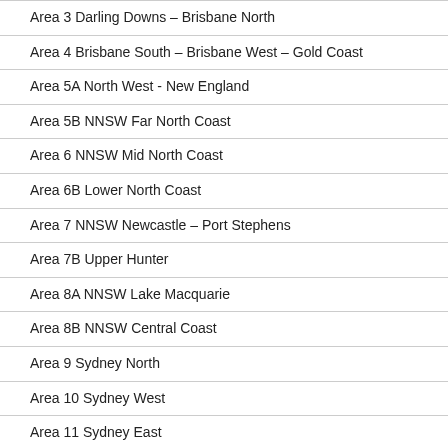Area 3 Darling Downs – Brisbane North
Area 4 Brisbane South – Brisbane West – Gold Coast
Area 5A North West - New England
Area 5B NNSW Far North Coast
Area 6 NNSW Mid North Coast
Area 6B Lower North Coast
Area 7 NNSW Newcastle – Port Stephens
Area 7B Upper Hunter
Area 8A NNSW Lake Macquarie
Area 8B NNSW Central Coast
Area 9 Sydney North
Area 10 Sydney West
Area 11 Sydney East
Area 12 Sydney South West
Area 13 Sydney Central
Area 14A Southern NSW – ACT
Area 14B Western NSW